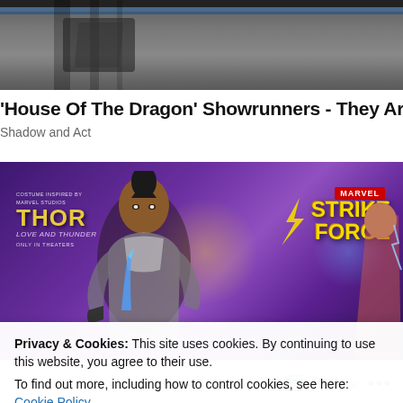[Figure (photo): Top cropped image showing a dark metallic/armored scene]
'House Of The Dragon' Showrunners - They Are The Om
Shadow and Act
[Figure (photo): Marvel Strike Force promotional banner featuring a female character in costume inspired by Thor: Love and Thunder, with purple background and Strike Force logo]
Privacy & Cookies: This site uses cookies. By continuing to use this website, you agree to their use.
To find out more, including how to control cookies, see here: Cookie Policy
Close and accept
Follow